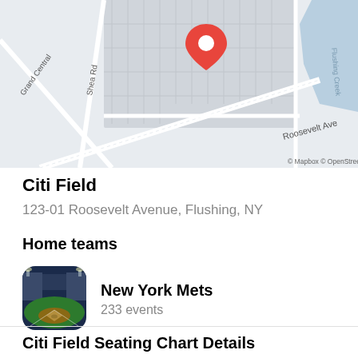[Figure (map): Map showing Citi Field area in Flushing, NY with streets including Roosevelt Ave, Shea Rd, Grand Central Pkwy, and Flushing Creek visible. A red location pin marks the stadium location. Map credit: © Mapbox © OpenStreetMap]
Citi Field
123-01 Roosevelt Avenue, Flushing, NY
Home teams
[Figure (photo): Thumbnail photo of Citi Field baseball stadium interior showing the field and stands]
New York Mets
233 events
Citi Field Seating Chart Details